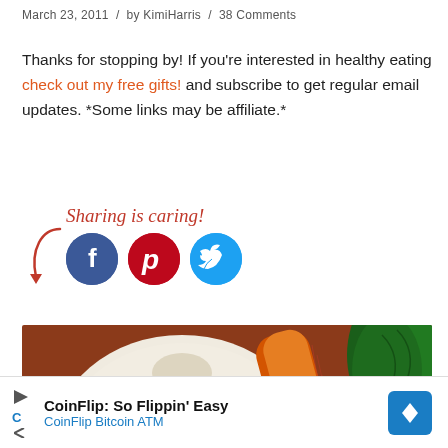March 23, 2011 / by KimiHarris / 38 Comments
Thanks for stopping by! If you're interested in healthy eating check out my free gifts! and subscribe to get regular email updates. *Some links may be affiliate.*
[Figure (infographic): Sharing is caring! text with arrow and three social media icons: Facebook (dark blue circle with f), Pinterest (red circle with P logo), Twitter (light blue circle with bird)]
[Figure (photo): Close-up photo of garlic bulb, carrots, and fresh green herbs on a wooden surface]
CoinFlip: So Flippin' Easy CoinFlip Bitcoin ATM